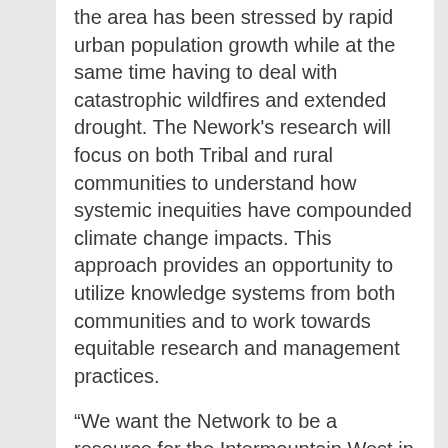the area has been stressed by rapid urban population growth while at the same time having to deal with catastrophic wildfires and extended drought. The Nework's research will focus on both Tribal and rural communities to understand how systemic inequities have compounded climate change impacts. This approach provides an opportunity to utilize knowledge systems from both communities and to work towards equitable research and management practices.
“We want the Network to be a resource for the Intermountain West in developing innovative and equitable solutions to adapt to the impacts of climate change. To achieve our goal, we must also work towards racial and environmental justice,” Stone said.
He said the Network’s approach is unique because it will be developing solutions from a broad set of communities and perspectives.
“Our approach, involving collaborators from a variety of institutions, disciplines and organizations, relies heavily on grassroots knowledge, especially in Tribal and rural communities. Indigenous and local knowledge systems are often ignored in resource management decisions. We’re eager to develop solutions that respect Indigenous and local